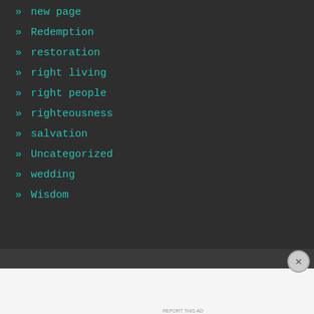» new page
» Redemption
» restoration
» right living
» right people
» righteousness
» salvation
» Uncategorized
» wedding
» Wisdom
Advertisements
[Figure (screenshot): WordPress.com advertisement banner: 'Simplified pricing for everything you need.' with WordPress.com logo]